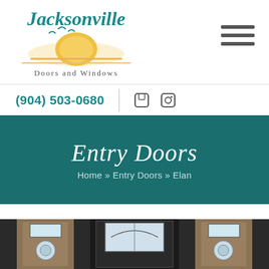[Figure (logo): Jacksonville Doors and Windows logo with teal script text and a sunrise/sun graphic with birds]
[Figure (other): Hamburger menu icon with three horizontal lines]
(904) 503-0680
[Figure (other): Social media icons (Facebook and another platform)]
Entry Doors
Home » Entry Doors » Elan
[Figure (photo): Partial view of entry doors with decorative glass panels and dark frame, brown wood surround]